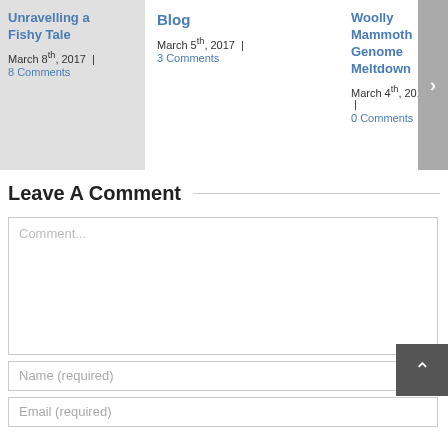Unravelling a Fishy Tale
March 8th, 2017 | 8 Comments
Blog
March 5th, 2017 | 3 Comments
Woolly Mammoth Genome Meltdown
March 4th, 2017 | 0 Comments
Leave A Comment
Comment...
Name (required)
Email (required)